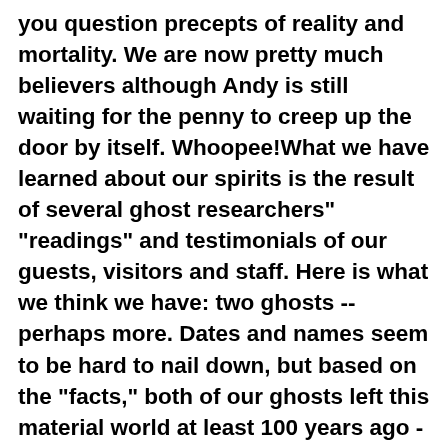you question precepts of reality and mortality. We are now pretty much believers although Andy is still waiting for the penny to creep up the door by itself. Whoopee!What we have learned about our spirits is the result of several ghost researchers" "readings" and testimonials of our guests, visitors and staff. Here is what we think we have: two ghosts -- perhaps more. Dates and names seem to be hard to nail down, but based on the "facts," both of our ghosts left this material world at least 100 years ago -- and probably even longer.Our first ghost was a paid servant, a horse carriage driver, who acted as a gentleman"s gentleman. He was a very light skinned black man who spoke several languages, loved the ladies, loved music, drank far too much, smoked and was quite the prankster. Sadly he accidentally killed himself in a smoky fire set either through smoking in bed